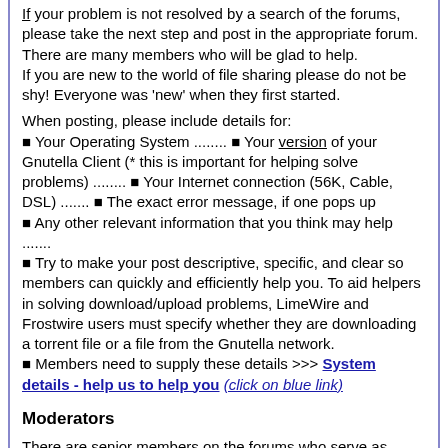If your problem is not resolved by a search of the forums, please take the next step and post in the appropriate forum. There are many members who will be glad to help.
If you are new to the world of file sharing please do not be shy! Everyone was 'new' when they first started.

When posting, please include details for:
⬛ Your Operating System ........ ⬛ Your version of your Gnutella Client (* this is important for helping solve problems) ........ ⬛ Your Internet connection (56K, Cable, DSL) ....... ⬛ The exact error message, if one pops up
⬛ Any other relevant information that you think may help .......
⬛ Try to make your post descriptive, specific, and clear so members can quickly and efficiently help you. To aid helpers in solving download/upload problems, LimeWire and Frostwire users must specify whether they are downloading a torrent file or a file from the Gnutella network.
⬛ Members need to supply these details >>> System details - help us to help you (click on blue link)
Moderators
There are senior members on the forums who serve as Moderators. These volunteers keep the board organized and moving.
Moderators are authorized to: (in order of increasing severity)
⬛ Move posts to the correct forums. Many times, members post in the wrong forum. These off-topic posts may impede the normal operation of the forum.